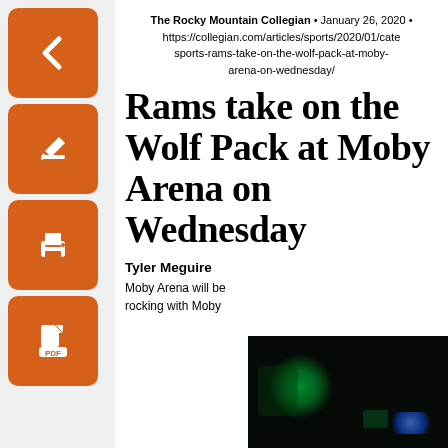[Figure (other): Sidebar with orange navigation icon buttons: back arrow, edit, print, PDF]
The Rocky Mountain Collegian • January 26, 2020 • https://collegian.com/articles/sports/2020/01/cate sports-rams-take-on-the-wolf-pack-at-moby-arena-on-wednesday/
Rams take on the Wolf Pack at Moby Arena on Wednesday
Tyler Meguire
Moby Arena will be rocking with Moby
[Figure (photo): Dark photo of Moby Arena interior with green and blue lighting effects]